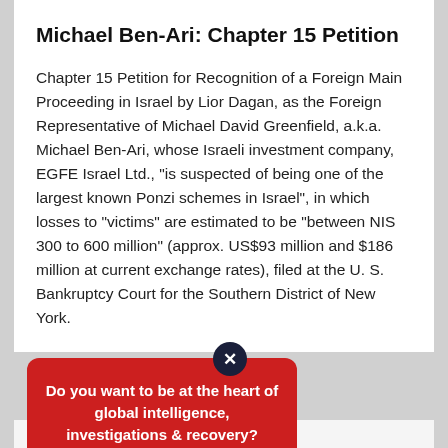Michael Ben-Ari: Chapter 15 Petition
Chapter 15 Petition for Recognition of a Foreign Main Proceeding in Israel by Lior Dagan, as the Foreign Representative of Michael David Greenfield, a.k.a. Michael Ben-Ari, whose Israeli investment company, EGFE Israel Ltd., "is suspected of being one of the largest known Ponzi schemes in Israel", in which losses to "victims" are estimated to be "between NIS 300 to 600 million" (approx. US$93 million and $186 million at current exchange rates), filed at the U. S. Bankruptcy Court for the Southern District of New York.
Do you want to be at the heart of global intelligence, investigations & recovery?